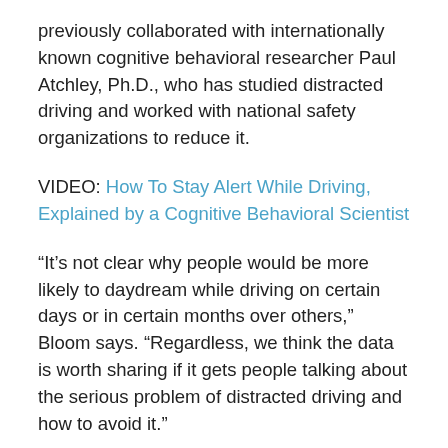previously collaborated with internationally known cognitive behavioral researcher Paul Atchley, Ph.D., who has studied distracted driving and worked with national safety organizations to reduce it.
VIDEO: How To Stay Alert While Driving, Explained by a Cognitive Behavioral Scientist
“It’s not clear why people would be more likely to daydream while driving on certain days or in certain months over others,” Bloom says. “Regardless, we think the data is worth sharing if it gets people talking about the serious problem of distracted driving and how to avoid it.”
April is Distracted Driving Awareness Month, but